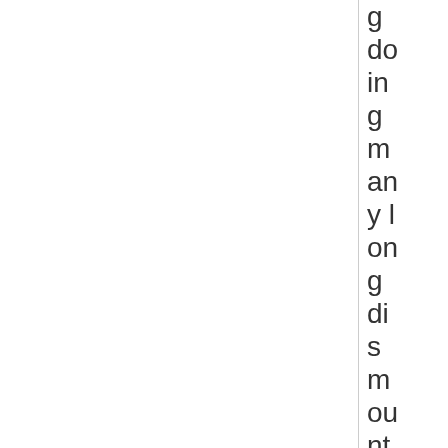doing many long dismounted patrols carry